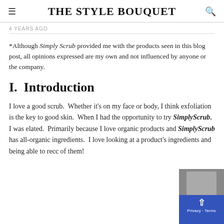THE STYLE BOUQUET
4 YEARS AGO
*Although Simply Scrub provided me with the products seen in this blog post, all opinions expressed are my own and not influenced by anyone or the company.
I.  Introduction
I love a good scrub.  Whether it's on my face or body, I think exfoliation is the key to good skin.  When I had the opportunity to try SimplyScrub, I was elated.  Primarily because I love organic products and SimplyScrub has all-organic ingredients.  I love looking at a product's ingredients and being able to reco of them!